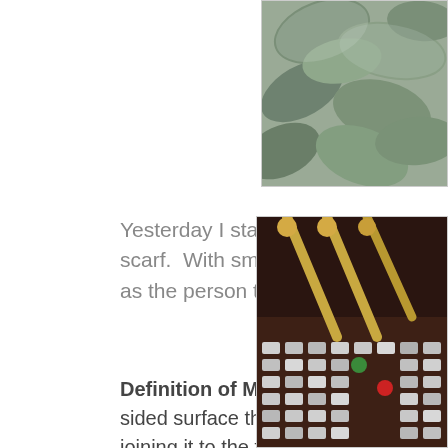[Figure (photo): Partial photo of silvery-green succulent or plant leaves, visible in top-right corner]
Yesterday I started an infinity scarf.  With smaller n than 30 rows, as the person this is for wants it lon
Definition of Möbius strip. : a one-sided surface that is degrees, and joining it to the first end.
[Figure (photo): Partial photo of knitting needles and knitting equipment on a dark surface with colorful buttons or supplies]